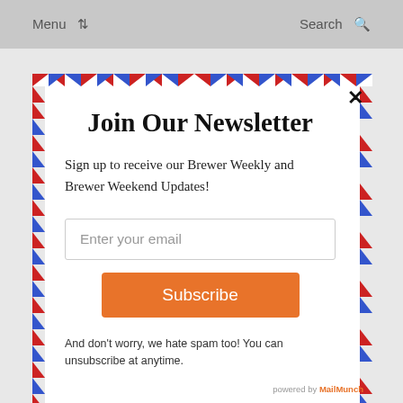Menu | Search
[Figure (screenshot): Newsletter signup modal overlay with airmail-style dashed border. Contains title 'Join Our Newsletter', subtitle text, email input field, Subscribe button, and disclaimer text.]
Join Our Newsletter
Sign up to receive our Brewer Weekly and Brewer Weekend Updates!
Enter your email
Subscribe
And don't worry, we hate spam too! You can unsubscribe at anytime.
powered by MailMunch
Increased expenditures of between $12 million to $15 million for continued